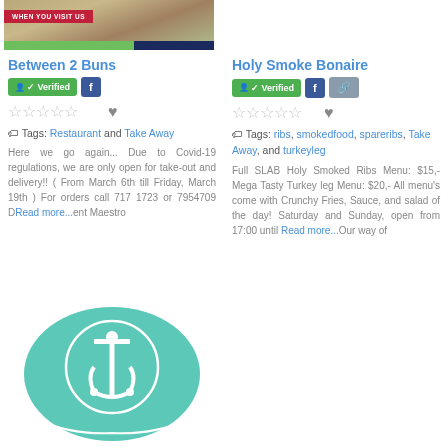[Figure (photo): Restaurant listing image for Between 2 Buns with red banner saying WHEN YOU VISIT US]
Between 2 Buns
Verified | f (Facebook badge)
★★★★★ (empty stars) ♥
Tags: Restaurant and Take Away
Here we go again... Due to Covid-19 regulations, we are only open for take-out and delivery!! ( From March 6th till Friday, March 19th ) For orders call 717 1723 or 7954709 D... Read more... ent Maestro
Holy Smoke Bonaire
Verified | f (Facebook badge) | link icon
★★★★★ (empty stars) ♥
Tags: ribs, smokedfood, spareribs, Take Away, and turkeyleg
Full SLAB Holy Smoked Ribs Menu: $15,- Mega Tasty Turkey leg Menu: $20,- All menu's come with Crunchy Fries, Sauce, and salad of the day! Saturday and Sunday, open from 17:00 until Read more... Our way of
[Figure (illustration): Teal anchor logo illustration inside an oval/badge shape]